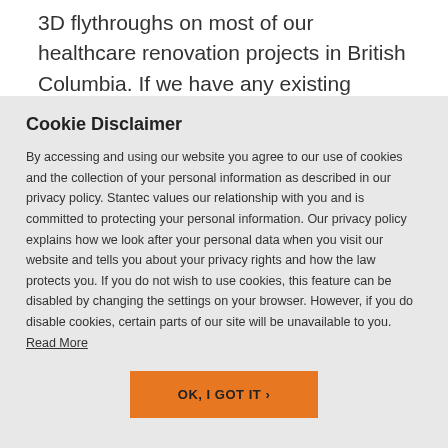3D flythroughs on most of our healthcare renovation projects in British Columbia. If we have any existing
Cookie Disclaimer
By accessing and using our website you agree to our use of cookies and the collection of your personal information as described in our privacy policy. Stantec values our relationship with you and is committed to protecting your personal information. Our privacy policy explains how we look after your personal data when you visit our website and tells you about your privacy rights and how the law protects you. If you do not wish to use cookies, this feature can be disabled by changing the settings on your browser. However, if you do disable cookies, certain parts of our site will be unavailable to you. Read More
OK, I GOT IT ›